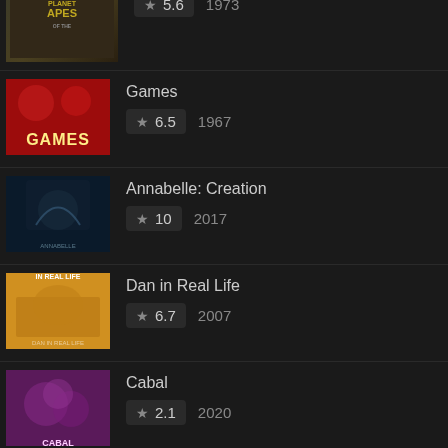Battle for the Planet of the Apes — Rating: 5.6 — Year: 1973
Games — Rating: 6.5 — Year: 1967
Annabelle: Creation — Rating: 10 — Year: 2017
Dan in Real Life — Rating: 6.7 — Year: 2007
Cabal — Rating: 2.1 — Year: 2020